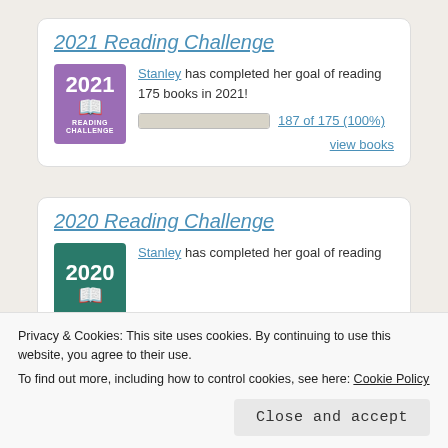2021 Reading Challenge
Stanley has completed her goal of reading 175 books in 2021! 187 of 175 (100%) view books
2020 Reading Challenge
Stanley has completed her goal of reading
Privacy & Cookies: This site uses cookies. By continuing to use this website, you agree to their use. To find out more, including how to control cookies, see here: Cookie Policy Close and accept